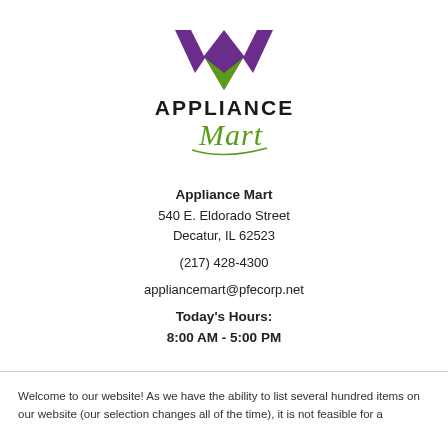[Figure (logo): Appliance Mart logo with stylized purple and green M shape above the text APPLIANCE in black bold and Mart in green cursive script]
Appliance Mart
540 E. Eldorado Street
Decatur, IL 62523

(217) 428-4300

appliancemart@pfecorp.net

Today's Hours:
8:00 AM - 5:00 PM
Welcome to our website! As we have the ability to list several hundred items on our website (our selection changes all of the time), it is not feasible for a